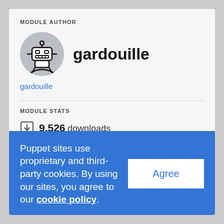MODULE AUTHOR
gardouille
gardouille (link)
MODULE STATS
9,526 downloads
9,249 latest version
Puppet sites use proprietary and third-party cookies. By using our sites, you agree to our cookie policy.